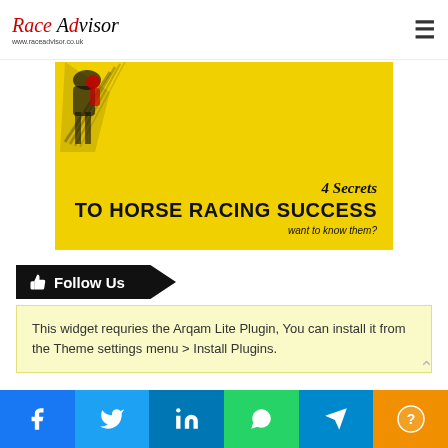Race Advisor www.raceadvisor.co.uk
[Figure (illustration): Yellow promotional banner with a black horse silhouette top-left and bold text reading '4 Secrets TO HORSE RACING SUCCESS want to know them?']
👍 Follow Us
This widget requries the Arqam Lite Plugin, You can install it from the Theme settings menu > Install Plugins.
[Figure (infographic): Social sharing bar with Facebook, Twitter, LinkedIn, WhatsApp, Telegram, and a more/info button icons]